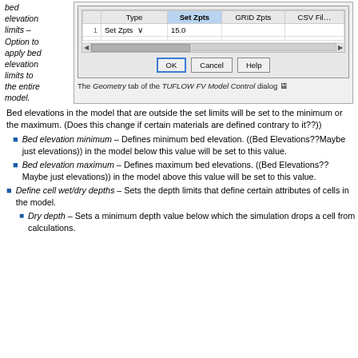bed elevation limits – Option to apply bed elevation limits to the entire model.
[Figure (screenshot): Screenshot of the Geometry tab of the TUFLOW FV Model Control dialog showing a table with columns Type, Set Zpts, GRID Zpts, CSV File with row 1 containing Set Zpts and 15.0, along with OK, Cancel, Help buttons.]
The Geometry tab of the TUFLOW FV Model Control dialog
Bed elevations in the model that are outside the set limits will be set to the minimum or the maximum. (Does this change if certain materials are defined contrary to it??)
Bed elevation minimum – Defines minimum bed elevation. ((Bed Elevations??Maybe just elevations)) in the model below this value will be set to this value.
Bed elevation maximum – Defines maximum bed elevations. ((Bed Elevations??Maybe just elevations)) in the model above this value will be set to this value.
Define cell wet/dry depths – Sets the depth limits that define certain attributes of cells in the model.
Dry depth – Sets a minimum depth value below which the simulation drops a cell from calculations.